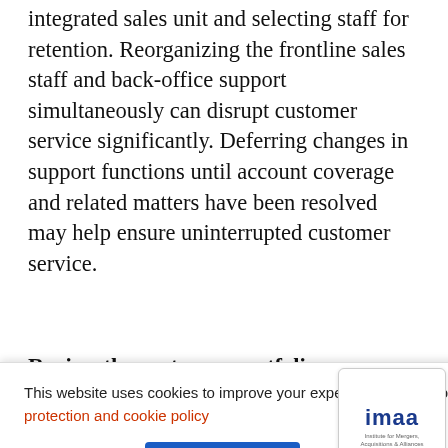integrated sales unit and selecting staff for retention. Reorganizing the frontline sales staff and back-office support simultaneously can disrupt customer service significantly. Deferring changes in support functions until account coverage and related matters have been resolved may help ensure uninterrupted customer service.
Review the customer portfolio...
This website uses cookies to improve your experience. To find out more, read our data privacy data protection and cookie policy
Cookie Settings
Accept All
[Figure (logo): IMAA - Institute for Mergers, Acquisitions and Alliances logo]
expectations. But mergers provide